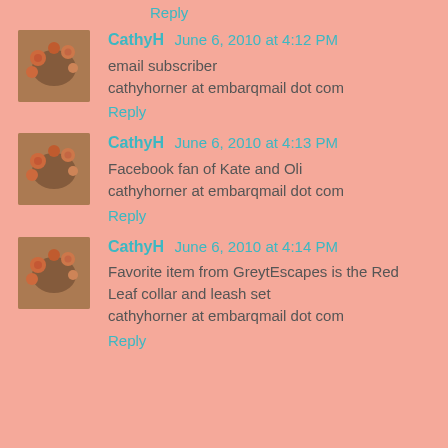Reply
[Figure (photo): Avatar thumbnail of CathyH - floral painting]
CathyH June 6, 2010 at 4:12 PM
email subscriber
cathyhorner at embarqmail dot com
Reply
[Figure (photo): Avatar thumbnail of CathyH - floral painting]
CathyH June 6, 2010 at 4:13 PM
Facebook fan of Kate and Oli
cathyhorner at embarqmail dot com
Reply
[Figure (photo): Avatar thumbnail of CathyH - floral painting]
CathyH June 6, 2010 at 4:14 PM
Favorite item from GreytEscapes is the Red Leaf collar and leash set
cathyhorner at embarqmail dot com
Reply